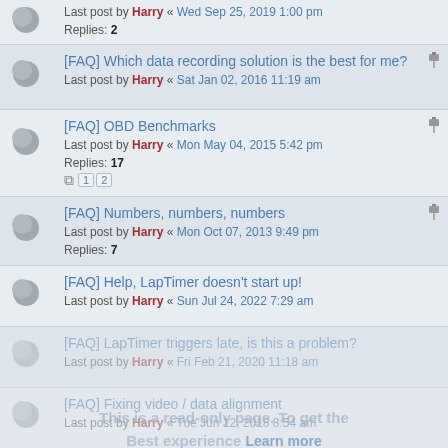Replies: 2 | Last post by Harry « Wed Sep 25, 2019 1:00 pm
[FAQ] Which data recording solution is the best for me? | Last post by Harry « Sat Jan 02, 2016 11:19 am
[FAQ] OBD Benchmarks | Last post by Harry « Mon May 04, 2015 5:42 pm | Replies: 17 | Pages: 1 2
[FAQ] Numbers, numbers, numbers | Last post by Harry « Mon Oct 07, 2013 9:49 pm | Replies: 7
[FAQ] Help, LapTimer doesn't start up! | Last post by Harry « Sun Jul 24, 2022 7:29 am
[FAQ] LapTimer triggers late, is this a problem? | Last post by Harry « Fri Feb 21, 2020 11:18 am
[FAQ] Fixing video / data alignment | Last post by Harry « Tue Jun 12, 2018 8:54 am
[HOWTO] Restoring Automatic Backups | Last post by Harry « Fri Jun 01, 2018 2:43 pm
[HOW-TO] RaceCapture Device Configuration | Last post by Harry « Wed Apr 12, 2017 5:41 pm